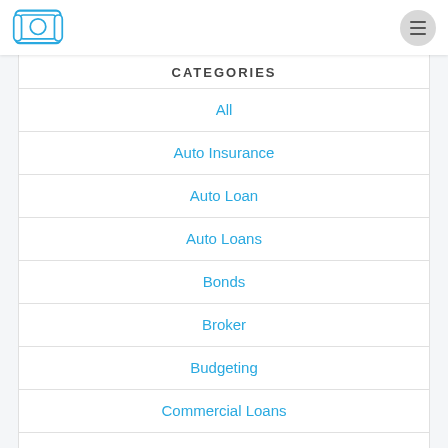Logo and navigation menu
CATEGORIES
All
Auto Insurance
Auto Loan
Auto Loans
Bonds
Broker
Budgeting
Commercial Loans
Credit
Day Trading